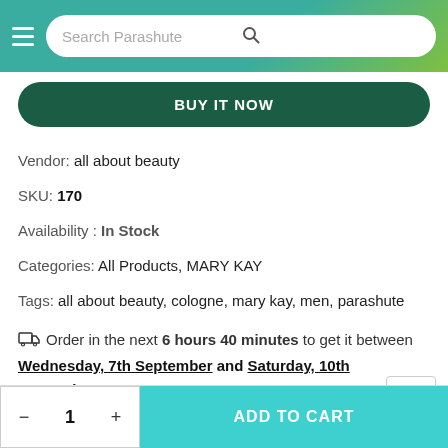Search Parashute
BUY IT NOW
Vendor: all about beauty
SKU: 170
Availability : In Stock
Categories: All Products, MARY KAY
Tags: all about beauty, cologne, mary kay, men, parashute
Order in the next 6 hours 40 minutes to get it between Wednesday, 7th September and Saturday, 10th September
ADD TO CART